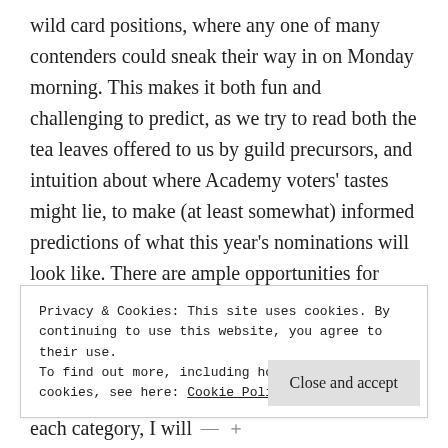wild card positions, where any one of many contenders could sneak their way in on Monday morning. This makes it both fun and challenging to predict, as we try to read both the tea leaves offered to us by guild precursors, and intuition about where Academy voters' tastes might lie, to make (at least somewhat) informed predictions of what this year's nominations will look like. There are ample opportunities for excitement and surprise.

As always, I will be offering my nomination predictions in some of the top categories. For each category, I will
Privacy & Cookies: This site uses cookies. By continuing to use this website, you agree to their use.
To find out more, including how to control cookies, see here: Cookie Policy
Close and accept